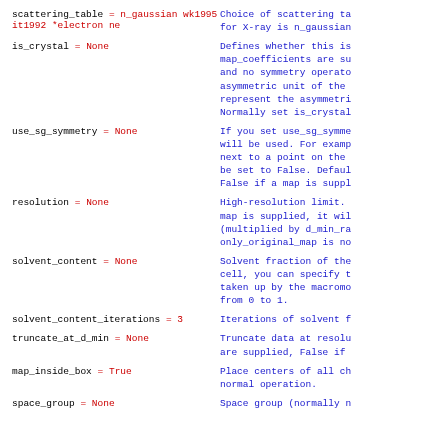scattering_table = n_gaussian wk1995 it1992 *electron ne... Choice of scattering ta... for X-ray is n_gaussian
is_crystal = None  Defines whether this is... map_coefficients are su... and no symmetry operato... asymmetric unit of the... represent the asymmetri... Normally set is_crystal
use_sg_symmetry = None  If you set use_sg_symme... will be used. For examp... next to a point on the... be set to False. Defaul... False if a map is suppl
resolution = None  High-resolution limit.... map is supplied, it wil... (multiplied by d_min_ra... only_original_map is no
solvent_content = None  Solvent fraction of the... cell, you can specify t... taken up by the macromo... from 0 to 1.
solvent_content_iterations = 3  Iterations of solvent f
truncate_at_d_min = None  Truncate data at resolu... are supplied, False if
map_inside_box = True  Place centers of all ch... normal operation.
space_group = None  Space group (normally n